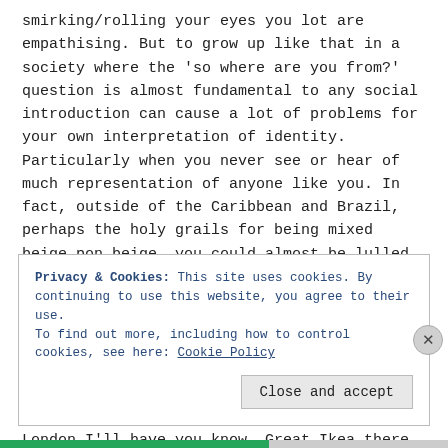smirking/rolling your eyes you lot are empathising. But to grow up like that in a society where the 'so where are you from?' question is almost fundamental to any social introduction can cause a lot of problems for your own interpretation of identity. Particularly when you never see or hear of much representation of anyone like you. In fact, outside of the Caribbean and Brazil, perhaps the holy grails for being mixed beige pon beige, you could almost be lulled into a false sense of security that ones genetics MUST contain at least some white in order to pass as mixed in our society. Maybe I'm TOO different. A question that all too often passed through my mind, even growing up in a place like Brent, apparently the most multicultural borough in the whole of London I'll have you know. Great Ikea there as well.
Privacy & Cookies: This site uses cookies. By continuing to use this website, you agree to their use.
To find out more, including how to control cookies, see here: Cookie Policy